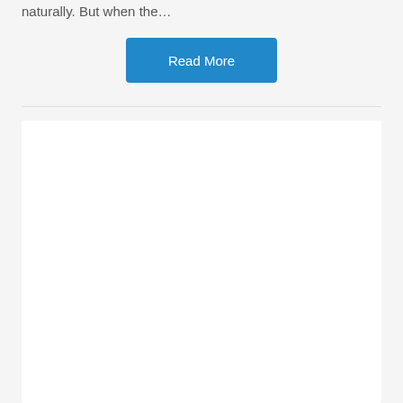naturally. But when the…
Read More
[Figure (other): White rectangular content card placeholder area, empty white box]